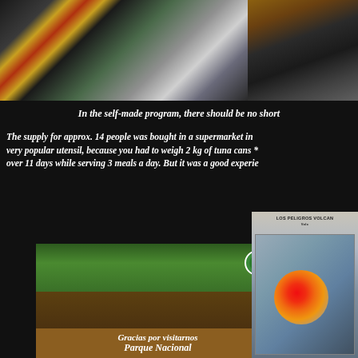[Figure (photo): People shopping in a supermarket with a shopping cart, shelves of products visible on left]
[Figure (photo): Luggage and bags at what appears to be an entry or lobby area with a person standing]
In the self-made program, there should be no short
The supply for approx. 14 people was bought in a supermarket in very popular utensil, because you had to weigh 2 kg of tuna cans * over 11 days while serving 3 meals a day. But it was a good experie
[Figure (photo): Park sign reading 'Gracias por visitarnos Parque Nacional' with green logo and brown wooden sign]
[Figure (map): Volcanic hazard map showing Los Peligros Volcanicos with red/orange hotspot indicating volcanic activity zone]